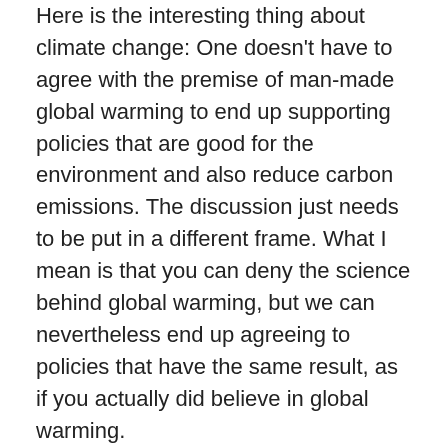Here is the interesting thing about climate change: One doesn't have to agree with the premise of man-made global warming to end up supporting policies that are good for the environment and also reduce carbon emissions. The discussion just needs to be put in a different frame. What I mean is that you can deny the science behind global warming, but we can nevertheless end up agreeing to policies that have the same result, as if you actually did believe in global warming.
The point is best made by Dr. Bjorn Lomborg, otherwise known as the Skeptical Environmentalist. In a paper he submitted prior to the Paris climate summit he notes: "Instead of trying to make fossil fuels so expensive that no one wants them – which will never work – we should make green energy so cheap everybody will shift to it." N'est-ce pas?